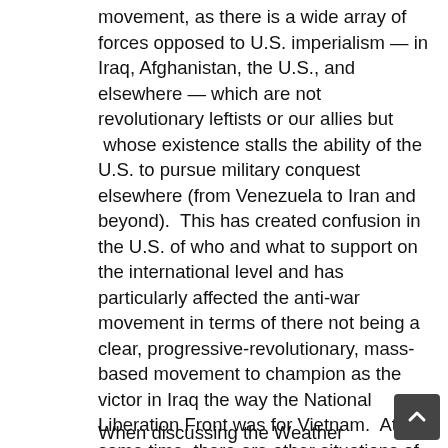movement, as there is a wide array of forces opposed to U.S. imperialism — in Iraq, Afghanistan, the U.S., and elsewhere — which are not revolutionary leftists or our allies but  whose existence stalls the ability of the U.S. to pursue military conquest elsewhere (from Venezuela to Iran and beyond).  This has created confusion in the U.S. of who and what to support on the international level and has particularly affected the anti-war movement in terms of there not being a clear, progressive-revolutionary, mass-based movement to champion as the victor in Iraq the way the National Liberation Front was for Vietnam.  At the same time, there are other situations of imperial aggression and revolutionary Left activity that people rarely brought up in discussions of international politics.  Debate about the occupations of Iraq and Palestine prevailed, whereas few people mentioned Haiti, Puerto Rico, the Philippines, Nepal, or elsewhere.  We need to sharpen our international awareness and connections beyond the hotspot areas
When discussing the Weather Underground, we talke